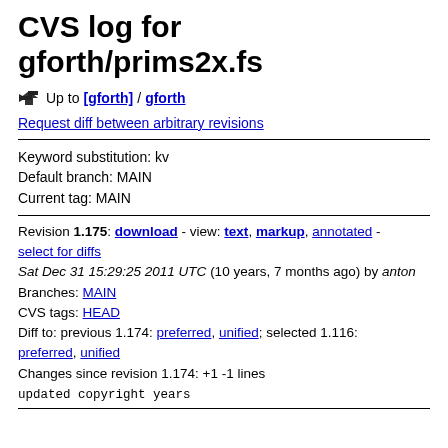CVS log for gforth/prims2x.fs
Up to [gforth] / gforth
Request diff between arbitrary revisions
Keyword substitution: kv
Default branch: MAIN
Current tag: MAIN
Revision 1.175: download - view: text, markup, annotated - select for diffs
Sat Dec 31 15:29:25 2011 UTC (10 years, 7 months ago) by anton
Branches: MAIN
CVS tags: HEAD
Diff to: previous 1.174: preferred, unified; selected 1.116: preferred, unified
Changes since revision 1.174: +1 -1 lines
updated copyright years